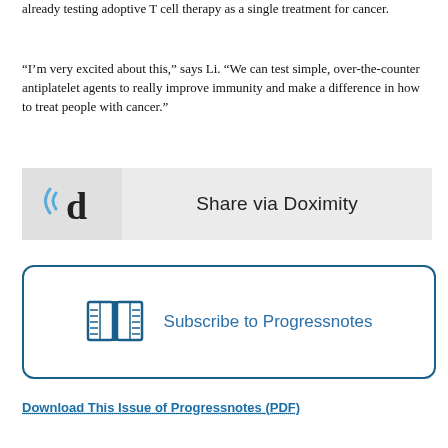already testing adoptive T cell therapy as a single treatment for cancer.
“I’m very excited about this,” says Li. “We can test simple, over-the-counter antiplatelet agents to really improve immunity and make a difference in how to treat people with cancer.”
[Figure (other): Share via Doximity button with Doximity logo on the left and text 'Share via Doximity' on the right, on a light grey background.]
[Figure (other): Subscribe to Progressnotes button with a blue open book icon and the text 'Subscribe to Progressnotes', framed by a blue rounded rectangle border.]
Download This Issue of Progressnotes (PDF)